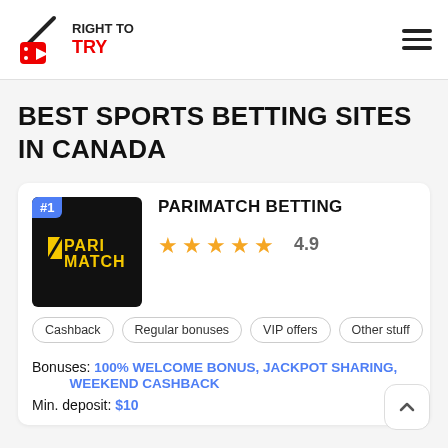RIGHT TO TRY
BEST SPORTS BETTING SITES IN CANADA
#1 PARIMATCH BETTING — Rating: 4.9
Cashback
Regular bonuses
VIP offers
Other stuff
Some o
Bonuses: 100% WELCOME BONUS, JACKPOT SHARING, WEEKEND CASHBACK
Min. deposit: $10